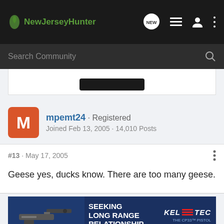NewJerseyHunter
Search Community
mpemt24 · Registered
Joined Feb 13, 2005 · 14,010 Posts
#13 · May 17, 2005
Geese yes, ducks know. There are too many geese.
[Figure (screenshot): Advertisement banner for Kel-Tec CP33 pistol: 'Seeking Long Range Relationship' with image of a handgun]
It isn't the ... nce but enjoying